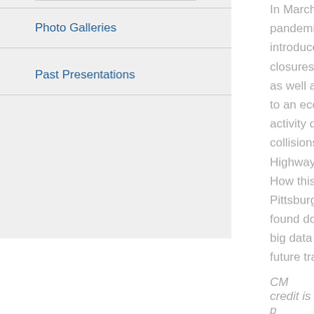Photo Galleries
Past Presentations
In March 202... pandemic. In... introduced p... closures of e... as well as wo... to an econom... activity decli... collisions. In... Highway Ad... How this ove... Pittsburgh? ... found domin... big data can... future traffic
CM credit is p
Speaker: Par